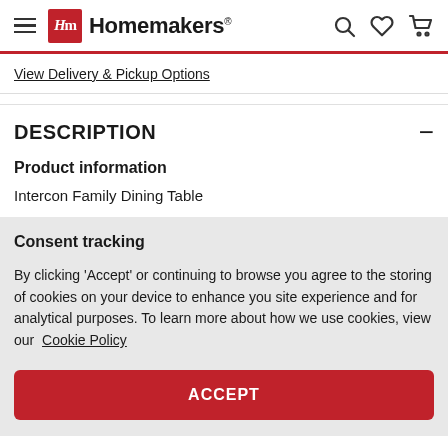Homemakers
View Delivery & Pickup Options
DESCRIPTION
Product information
Intercon Family Dining Table
Consent tracking
By clicking 'Accept' or continuing to browse you agree to the storing of cookies on your device to enhance you site experience and for analytical purposes. To learn more about how we use cookies, view our Cookie Policy
ACCEPT